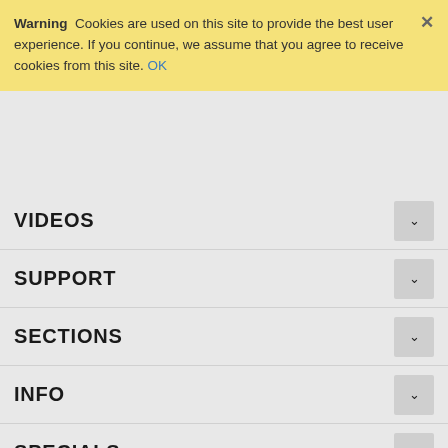Warning  Cookies are used on this site to provide the best user experience. If you continue, we assume that you agree to receive cookies from this site. OK
VIDEOS
SUPPORT
SECTIONS
INFO
SPECIALS
[Figure (logo): Alternate Mode logo - circle with stylized AM monogram and 'ALTERNATE MODE' text below]